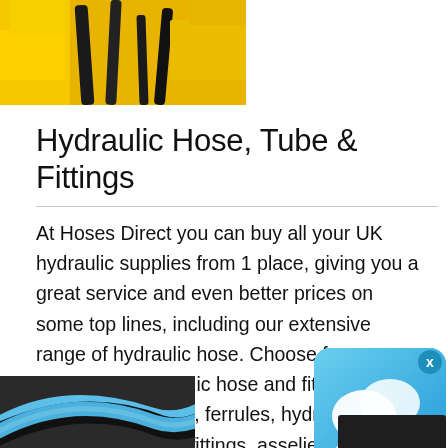[Figure (photo): Yellow hydraulic machinery with black hoses visible at top of page]
Hydraulic Hose, Tube & Fittings
At Hoses Direct you can buy all your UK hydraulic supplies from 1 place, giving you a great service and even better prices on some top lines, including our extensive range of hydraulic hose. Choose from some of the best hydraulic hose and fittings, swagers, crimpers, ferrules, hydraulic tubes and compression fittings, asselies, testing equipment, cylinders, gauges, and much more.
[Figure (photo): Blue and black hydraulic hose shown at bottom of page]